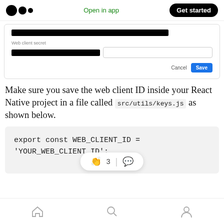Open in app | Get started
[Figure (screenshot): Partial form with redacted web client ID field and web client secret field, with Cancel and Save buttons]
Make sure you save the web client ID inside your React Native project in a file called src/utils/keys.js as shown below.
export const WEB_CLIENT_ID =
'YOUR_WEB_CLIENT_ID';
👏 3 | 💬 home search profile